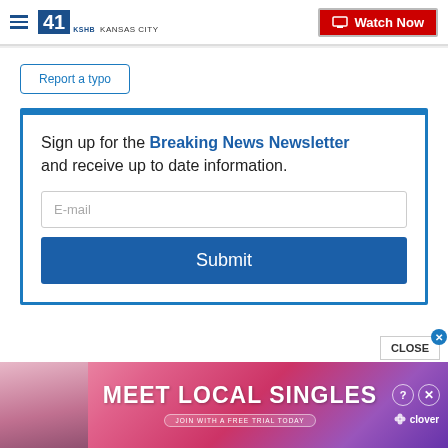41 KSHB KANSAS CITY — Watch Now
Report a typo
Sign up for the Breaking News Newsletter and receive up to date information.
[Figure (screenshot): Email input field with placeholder text E-mail and a Submit button]
[Figure (photo): Advertisement banner: MEET LOCAL SINGLES — JOIN WITH A FREE TRIAL TODAY — clover branding with woman photo]